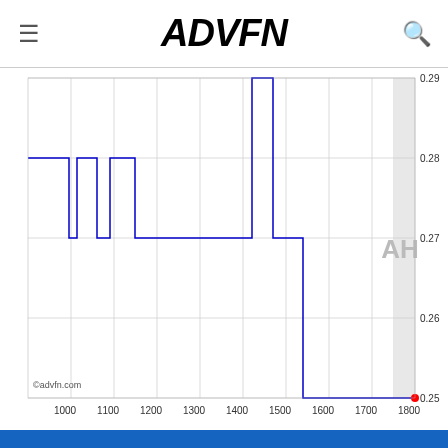ADVFN
[Figure (continuous-plot): Step line chart showing stock price over time (x-axis: ~900 to 1800), y-axis range 0.25 to 0.29. Price starts at 0.28, dips briefly, returns to 0.28 around 1000-1150, flat at 0.27 from ~1150 to ~1420, spikes to 0.29 from ~1420 to ~1470, then drops steeply to 0.25 from ~1470 to ~1540, remaining flat at 0.25 to 1800. After-hours (AH) shaded region from ~1750 to 1800. Red dot at end at 0.25.]
©advfn.com